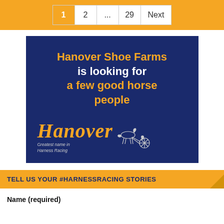1  2  ...  29  Next
[Figure (illustration): Hanover Shoe Farms advertisement on dark navy background. Text reads: 'Hanover Shoe Farms is looking for a few good horse people'. Below is the Hanover script logo in orange with tagline 'Greatest name in Harness Racing' and a harness racing horse silhouette.]
TELL US YOUR #HARNESSRACING STORIES
Name (required)